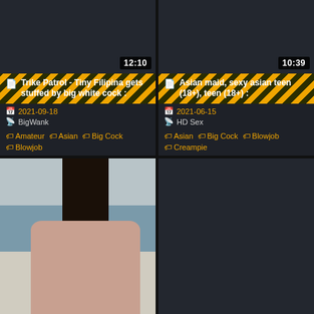[Figure (screenshot): Video thumbnail – dark placeholder for Trike Patrol video, duration 12:10]
📄 Trike Patrol - Tiny Filipina gets stuffed by big white cock :
2021-09-18
BigWank
Amateur
Asian
Big Cock
Blowjob
[Figure (screenshot): Video thumbnail – dark placeholder for Asian maid video, duration 10:39]
📄 Asian maid, sexy asian teen (18+), teen (18+) :
2021-06-15
HD Sex
Asian
Big Cock
Blowjob
Creampie
[Figure (photo): Photo of a woman with dark ponytail in intimate scene]
[Figure (screenshot): Dark placeholder thumbnail, bottom right card]